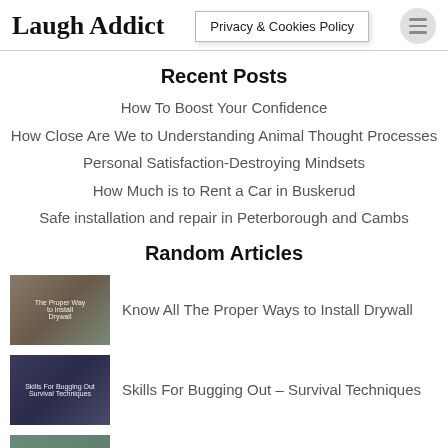Laugh Addict | Privacy & Cookies Policy
Recent Posts
How To Boost Your Confidence
How Close Are We to Understanding Animal Thought Processes
Personal Satisfaction-Destroying Mindsets
How Much is to Rent a Car in Buskerud
Safe installation and repair in Peterborough and Cambs
Random Articles
Know All The Proper Ways to Install Drywall
Skills For Bugging Out – Survival Techniques
The Most Effective Data Recovery Services In Pune